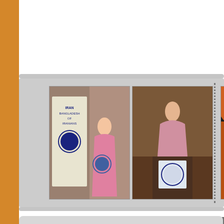[Figure (photo): A horizontal filmstrip/photo band showing 4 thumbnail photos: a woman in a pink sari holding an award, a woman speaking at a podium with a logo, an orange-draped stage with seated people, and a woman in gray standing]
Bollywood Star
[Figure (photo): Partial photo of a person visible on the right side of the Bollywood Star card]
Slideshow
View 4 photos